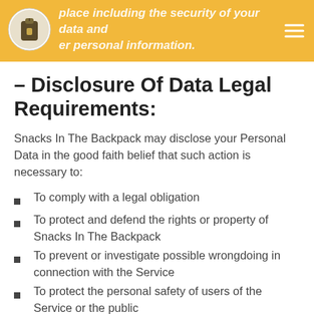place including the security of your data and your personal information.
– Disclosure Of Data Legal Requirements:
Snacks In The Backpack may disclose your Personal Data in the good faith belief that such action is necessary to:
To comply with a legal obligation
To protect and defend the rights or property of Snacks In The Backpack
To prevent or investigate possible wrongdoing in connection with the Service
To protect the personal safety of users of the Service or the public
To protect against legal liability